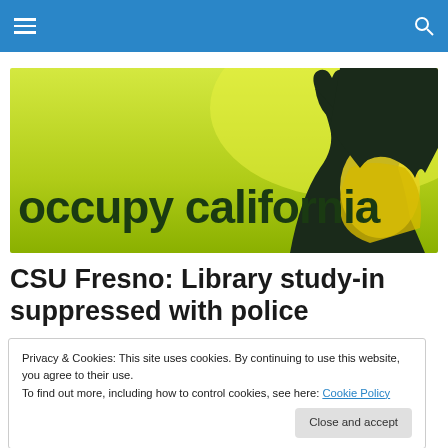occupy california (navigation bar)
[Figure (illustration): Occupy California banner — yellow-green gradient background with dark silhouette of a person raising a fist, text 'occupy california' in large dark green lowercase letters]
CSU Fresno: Library study-in suppressed with police
Privacy & Cookies: This site uses cookies. By continuing to use this website, you agree to their use.
To find out more, including how to control cookies, see here: Cookie Policy
Close and accept
closed at 5, 11 students refused to leave. In protest of